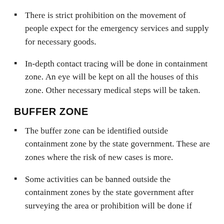There is strict prohibition on the movement of people expect for the emergency services and supply for necessary goods.
In-depth contact tracing will be done in containment zone. An eye will be kept on all the houses of this zone. Other necessary medical steps will be taken.
BUFFER ZONE
The buffer zone can be identified outside containment zone by the state government. These are zones where the risk of new cases is more.
Some activities can be banned outside the containment zones by the state government after surveying the area or prohibition will be done if